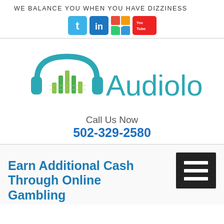WE BALANCE YOU WHEN YOU HAVE DIZZINESS
[Figure (logo): Social media icons: Twitter, LinkedIn, Google+, YouTube]
[Figure (logo): Audiologists logo with headphones and sound wave graphic and text 'Audiologists']
Call Us Now
502-329-2580
[Figure (other): Hamburger menu icon (three horizontal lines on dark background)]
Earn Additional Cash Through Online Gambling